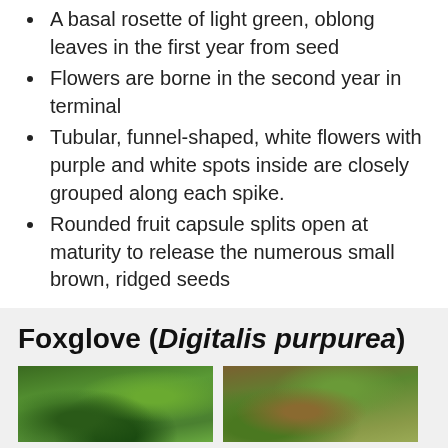A basal rosette of light green, oblong leaves in the first year from seed
Flowers are borne in the second year in terminal
Tubular, funnel-shaped, white flowers with purple and white spots inside are closely grouped along each spike.
Rounded fruit capsule splits open at maturity to release the numerous small brown, ridged seeds
Foxglove (Digitalis purpurea)
[Figure (photo): Photo of foxglove plant showing green foliage]
[Figure (photo): Photo of foxglove plant rosette growing in ground]